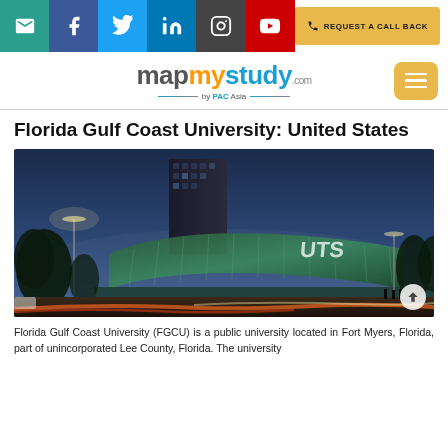mapmystudy.com by PAC Asia
Florida Gulf Coast University: United States
[Figure (photo): Night/dusk exterior photo of a modern university building with curved glass facade, tall dark tower behind it, city street in foreground with light trails]
Florida Gulf Coast University (FGCU) is a public university located in Fort Myers, Florida, part of unincorporated Lee County, Florida. The university